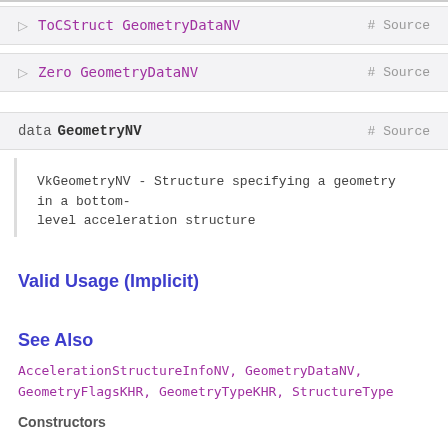▷ ToCStruct GeometryDataNV   # Source
▷ Zero GeometryDataNV   # Source
data GeometryNV   # Source
VkGeometryNV - Structure specifying a geometry in a bottom-level acceleration structure
Valid Usage (Implicit)
See Also
AccelerationStructureInfoNV, GeometryDataNV, GeometryFlagsKHR, GeometryTypeKHR, StructureType
Constructors